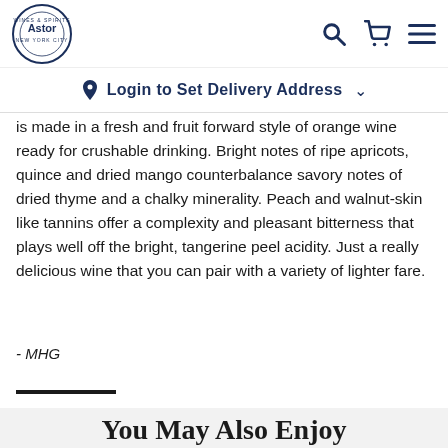Astor Wines & Spirits New York City
Login to Set Delivery Address
is made in a fresh and fruit forward style of orange wine ready for crushable drinking. Bright notes of ripe apricots, quince and dried mango counterbalance savory notes of dried thyme and a chalky minerality. Peach and walnut-skin like tannins offer a complexity and pleasant bitterness that plays well off the bright, tangerine peel acidity. Just a really delicious wine that you can pair with a variety of lighter fare.
- MHG
You May Also Enjoy